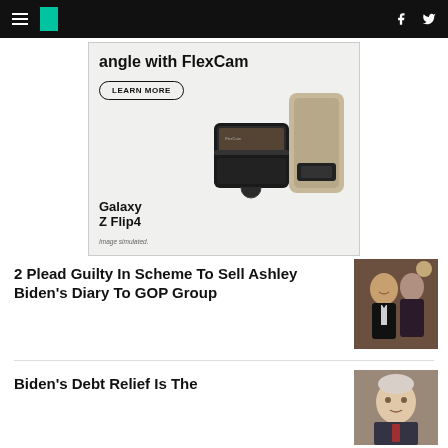HuffPost navigation header with hamburger menu, logo, Facebook and Twitter icons
[Figure (screenshot): Samsung Galaxy Z Flip4 advertisement showing 'angle with FlexCam', LEARN MORE button, phone images, and 'Image simulated.' caption]
2 Plead Guilty In Scheme To Sell Ashley Biden's Diary To GOP Group
[Figure (photo): Photo of Joe Biden and Ashley Biden at a formal event]
Biden's Debt Relief Is The